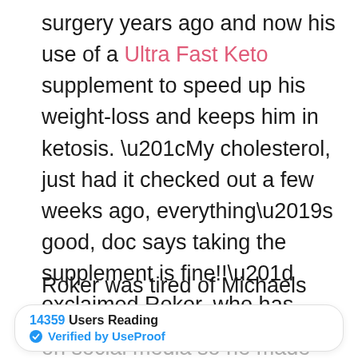surgery years ago and now his use of a Ultra Fast Keto supplement to speed up his weight-loss and keeps him in ketosis. “My cholesterol, just had it checked out a few weeks ago, everything’s good, doc says taking the supplement is fine!!” exclaimed Roker, who has documented his weight loss journey via Instagram and frequently shares photos of himself.
Roker was tired of Michaels taking jabs at him on social media so he made an appearance on
14359 Users Reading ✓ Verified by UseProof